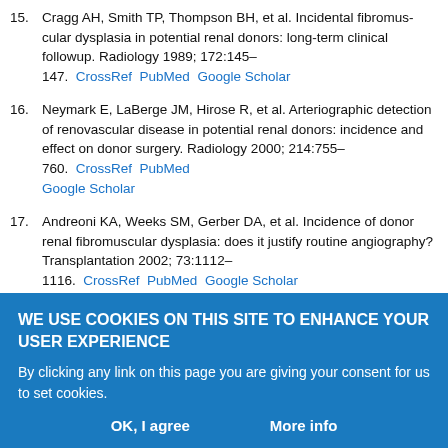15. Cragg AH, Smith TP, Thompson BH, et al. Incidental fibromuscular dysplasia in potential renal donors: long-term clinical followup. Radiology 1989; 172:145–147.  CrossRef  PubMed  Google Scholar
16. Neymark E, LaBerge JM, Hirose R, et al. Arteriographic detection of renovascular disease in potential renal donors: incidence and effect on donor surgery. Radiology 2000; 214:755–760.  CrossRef  PubMed  Google Scholar
17. Andreoni KA, Weeks SM, Gerber DA, et al. Incidence of donor renal fibromuscular dysplasia: does it justify routine angiography? Transplantation 2002; 73:1112–1116.  CrossRef  PubMed  Google Scholar
18. Blondin D, Lanzman R, Schellhammer F, et al. Fibromuscular dysplasia in
WE USE COOKIES ON THIS SITE TO ENHANCE YOUR USER EXPERIENCE
By clicking any link on this page you are giving your consent for us to set cookies.
OK, I agree    More info